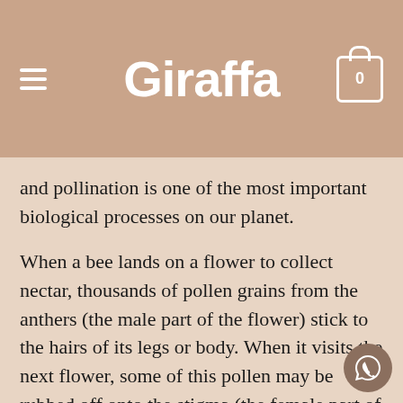Giraffa
and pollination is one of the most important biological processes on our planet.
When a bee lands on a flower to collect nectar, thousands of pollen grains from the anthers (the male part of the flower) stick to the hairs of its legs or body. When it visits the next flower, some of this pollen may be rubbed off onto the stigma (the female part of the flower). When this happens, fertilization is possible, and a fruit, carrying seeds, can develop. Since plants can't move, most of them have to rely on animal pollination to reproduce. Bees move from